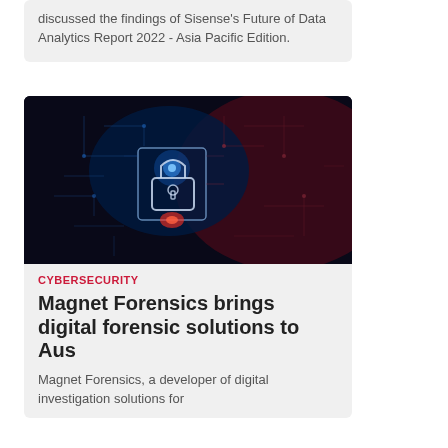discussed the findings of Sisense's Future of Data Analytics Report 2022 - Asia Pacific Edition.
[Figure (photo): Dark technology background with a glowing blue and red circuit board pattern featuring a padlock icon in the center, representing cybersecurity.]
CYBERSECURITY
Magnet Forensics brings digital forensic solutions to Aus
Magnet Forensics, a developer of digital investigation solutions for